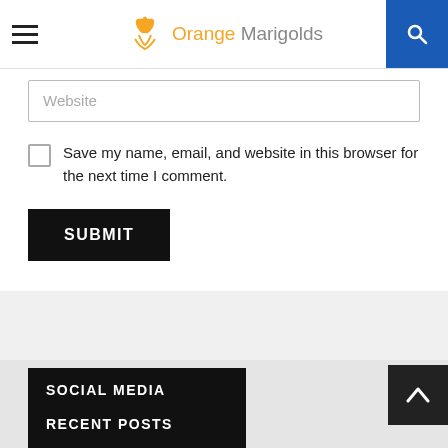Orange Marigolds
Website
Save my name, email, and website in this browser for the next time I comment.
SUBMIT
SOCIAL MEDIA
[Figure (infographic): Social media icons: Facebook (blue), Twitter (light blue), Email (blue)]
RECENT POSTS